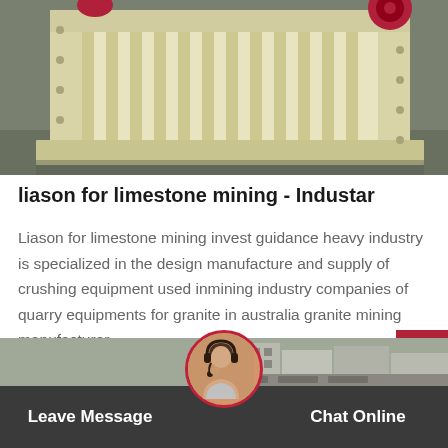[Figure (photo): Photograph of a large yellow/cream industrial jaw crusher machine on a factory floor, with red belt drive components visible at top]
liason for limestone mining - Industar
Liason for limestone mining invest guidance heavy industry is specialized in the design manufacture and supply of crushing equipment used inmining industry companies of quarry equipments for granite in australia granite mining manufacturer...
Get Price
[Figure (photo): Customer service representative with headset, and background image of industrial facility with Chinese text]
Leave Message
Chat Online